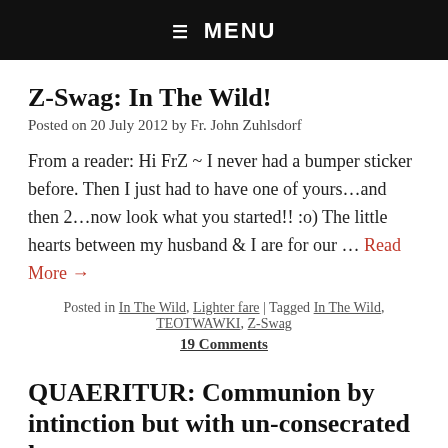☰ MENU
Z-Swag: In The Wild!
Posted on 20 July 2012 by Fr. John Zuhlsdorf
From a reader: Hi FrZ ~ I never had a bumper sticker before. Then I just had to have one of yours…and then 2…now look what you started!! :o) The little hearts between my husband & I are for our … Read More →
Posted in In The Wild, Lighter fare | Tagged In The Wild, TEOTWAWKI, Z-Swag
19 Comments
QUAERITUR: Communion by intinction but with un-consecrated hosts.
Posted on 20 July 2012 by Fr. John Zuhlsdorf